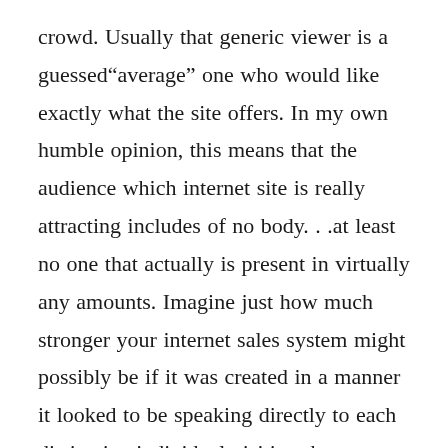crowd. Usually that generic viewer is a guessed"average" one who would like exactly what the site offers. In my own humble opinion, this means that the audience which internet site is really attracting includes of no body. . .at least no one that actually is present in virtually any amounts. Imagine just how much stronger your internet sales system might possibly be if it was created in a manner it looked to be speaking directly to each distinctive individual visiting the website. Obviously, with current technology that ideal is not possible to execute for essentially random